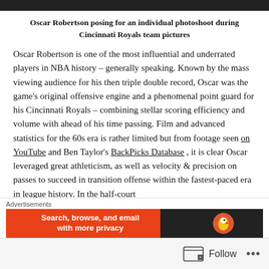[Figure (photo): Top of photo of Oscar Robertson during Cincinnati Royals team pictures - only a dark bar visible]
Oscar Robertson posing for an individual photoshoot during Cincinnati Royals team pictures
Oscar Robertson is one of the most influential and underrated players in NBA history – generally speaking. Known by the mass viewing audience for his then triple double record, Oscar was the game's original offensive engine and a phenomenal point guard for his Cincinnati Royals – combining stellar scoring efficiency and volume with ahead of his time passing. Film and advanced statistics for the 60s era is rather limited but from footage seen on YouTube and Ben Taylor's BackPicks Database , it is clear Oscar leveraged great athleticism, as well as velocity & precision on passes to succeed in transition offense within the fastest-paced era in league history. In the half-court
Advertisements
[Figure (screenshot): Advertisement banner: Search, browse, and email with more privacy - DuckDuckGo]